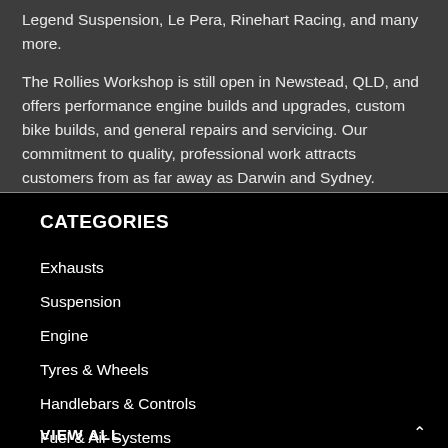Legend Suspension, Le Pera, Rinehart Racing, and many more.
The Rollies Workshop is still open in Newstead, QLD, and offers performance engine builds and upgrades, custom bike builds, and general repairs and servicing. Our commitment to quality, professional work attracts customers from as far away as Darwin and Sydney.
CATEGORIES
Exhausts
Suspension
Engine
Tyres & Wheels
Handlebars & Controls
Fuel & Air Systems
VIEW ALL